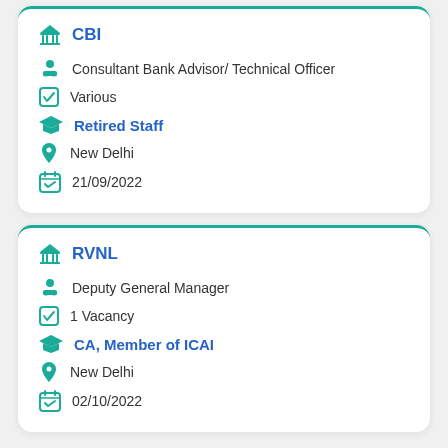CBI
Consultant Bank Advisor/ Technical Officer
Various
Retired Staff
New Delhi
21/09/2022
RVNL
Deputy General Manager
1 Vacancy
CA, Member of ICAI
New Delhi
02/10/2022